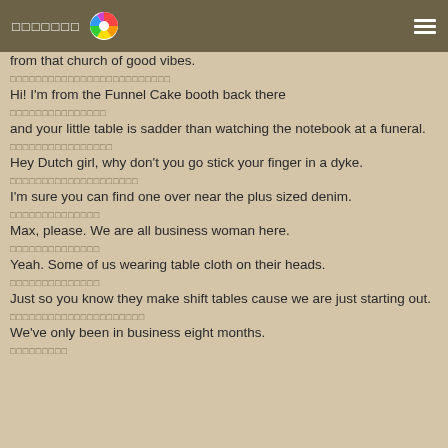▪▪▪▪▪▪▪ [colorful wheel icon] ≡
from that church of good vibes.
▪▪▪▪▪▪▪▪▪▪▪▪▪▪▪▪▪▪▪▪▪▪▪▪▪
Hi! I'm from the Funnel Cake booth back there
▪▪▪▪▪▪▪▪▪▪▪▪▪▪▪
and your little table is sadder than watching the notebook at a funeral.
▪▪▪▪▪▪▪▪▪▪▪▪▪▪▪▪
Hey Dutch girl, why don't you go stick your finger in a dyke.
▪▪▪▪▪▪▪▪▪▪▪▪▪▪▪▪▪▪▪▪
I'm sure you can find one over near the plus sized denim.
▪▪▪▪▪▪▪▪▪▪▪▪▪▪
Max, please. We are all business woman here.
▪▪▪▪▪▪▪▪▪▪▪▪▪▪
Yeah. Some of us wearing table cloth on their heads.
▪▪▪▪▪▪▪▪▪▪▪▪▪▪
Just so you know they make shift tables cause we are just starting out.
▪▪▪▪▪▪▪▪▪▪▪▪▪▪▪▪▪▪▪
We've only been in business eight months.
▪▪▪▪▪▪▪▪▪